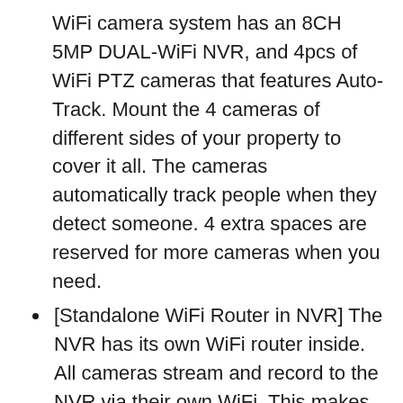WiFi camera system has an 8CH 5MP DUAL-WiFi NVR, and 4pcs of WiFi PTZ cameras that features Auto-Track. Mount the 4 cameras of different sides of your property to cover it all. The cameras automatically track people when they detect someone. 4 extra spaces are reserved for more cameras when you need.
[Standalone WiFi Router in NVR] The NVR has its own WiFi router inside. All cameras stream and record to the NVR via their own WiFi. This makes the surveillance system works standalone without Internet, and hassle-free to your home network.
[Smart Versatile Cameras] Security cameras have never been so smart and easy to use. Simply plug them to power, they start to view, track and records